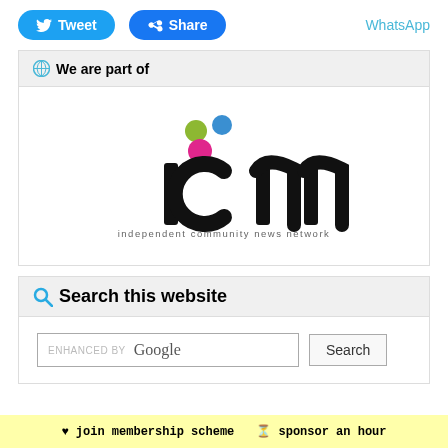[Figure (other): Social sharing buttons: Tweet (blue), Share (Facebook blue), WhatsApp (teal text link)]
We are part of
[Figure (logo): ICNN - independent community news network logo with colored dots (olive, blue, pink) above stylized 'icnn' text]
Search this website
[Figure (screenshot): Search bar enhanced by Google with Search button]
♥ join membership scheme  ● sponsor an hour